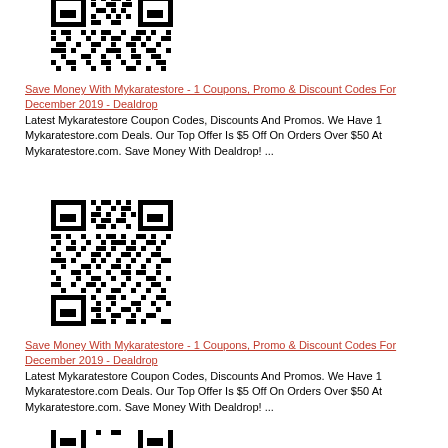[Figure (other): QR code image (black and white square barcode)]
Save Money With Mykaratestore - 1 Coupons, Promo & Discount Codes For December 2019 - Dealdrop
Latest Mykaratestore Coupon Codes, Discounts And Promos. We Have 1 Mykaratestore.com Deals. Our Top Offer Is $5 Off On Orders Over $50 At Mykaratestore.com. Save Money With Dealdrop! ...
[Figure (other): QR code image (black and white square barcode)]
Save Money With Mykaratestore - 1 Coupons, Promo & Discount Codes For December 2019 - Dealdrop
Latest Mykaratestore Coupon Codes, Discounts And Promos. We Have 1 Mykaratestore.com Deals. Our Top Offer Is $5 Off On Orders Over $50 At Mykaratestore.com. Save Money With Dealdrop! ...
[Figure (other): QR code image (black and white square barcode), partially visible]